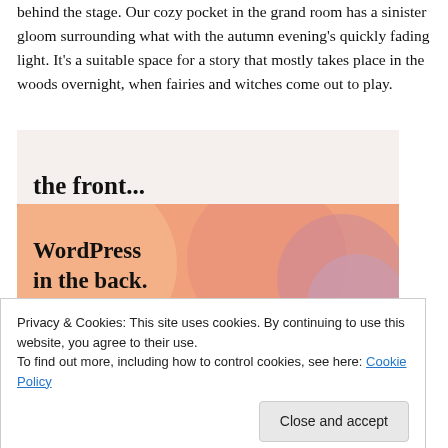behind the stage. Our cozy pocket in the grand room has a sinister gloom surrounding what with the autumn evening's quickly fading light. It's a suitable space for a story that mostly takes place in the woods overnight, when fairies and witches come out to play.
[Figure (illustration): An image with two parts: top portion showing text 'the front...' on a light beige background, and bottom portion showing 'WordPress in the back.' text on an orange/peach background with overlapping colored circles in orange, pink, and mauve tones.]
Privacy & Cookies: This site uses cookies. By continuing to use this website, you agree to their use.
To find out more, including how to control cookies, see here: Cookie Policy
Close and accept
Continue reading →